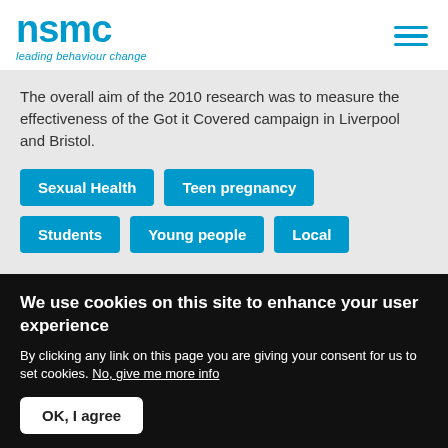nsmc leading behaviour change
The overall aim of the 2010 research was to measure the effectiveness of the Got it Covered campaign in Liverpool and Bristol.
Sexual Health
Teen pregnancy
Students
Young people
Local
Revi...
We use cookies on this site to enhance your user experience
By clicking any link on this page you are giving your consent for us to set cookies. No, give me more info
OK, I agree